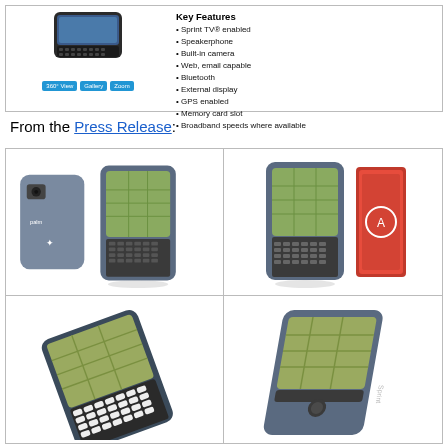[Figure (photo): Palm Treo smartphone with keyboard, shown from front, with navigation buttons labeled 360 View, Gallery, Zoom]
Key Features
• Sprint TV® enabled
• Speakerphone
• Built-in camera
• Web, email capable
• Bluetooth
• External display
• GPS enabled
• Memory card slot
• Broadband speeds where available
From the Press Release:
[Figure (photo): Two views of Palm Treo smartphone - back view and front view showing map application]
[Figure (photo): Palm Treo smartphone next to a deck of playing cards for size comparison, showing map application]
[Figure (photo): Palm Treo smartphone viewed from above at an angle showing keyboard and map application]
[Figure (photo): Palm Treo smartphone from the side showing keyboard extended and screen with map]